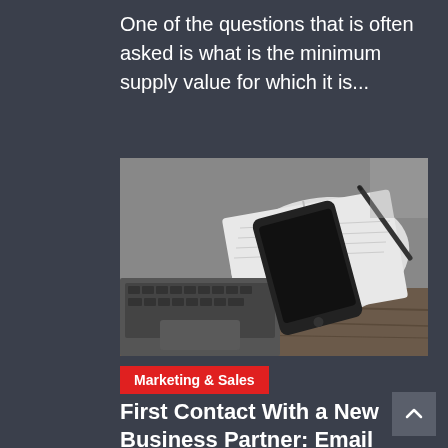One of the questions that is often asked is what is the minimum supply value for which it is...
[Figure (photo): Smartphone resting on an open notebook/planner on a wooden desk, with a laptop keyboard and trackpad visible in the foreground, and a pen in the background. Black and white / desaturated tone.]
Marketing & Sales
First Contact With a New Business Partner: Email or Call?